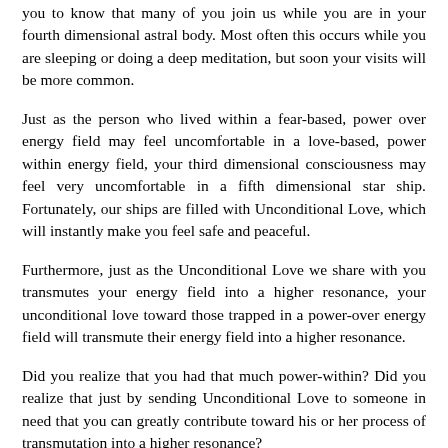you to know that many of you join us while you are in your fourth dimensional astral body. Most often this occurs while you are sleeping or doing a deep meditation, but soon your visits will be more common.
Just as the person who lived within a fear-based, power over energy field may feel uncomfortable in a love-based, power within energy field, your third dimensional consciousness may feel very uncomfortable in a fifth dimensional star ship. Fortunately, our ships are filled with Unconditional Love, which will instantly make you feel safe and peaceful.
Furthermore, just as the Unconditional Love we share with you transmutes your energy field into a higher resonance, your unconditional love toward those trapped in a power-over energy field will transmute their energy field into a higher resonance.
Did you realize that you had that much power-within? Did you realize that just by sending Unconditional Love to someone in need that you can greatly contribute toward his or her process of transmutation into a higher resonance?